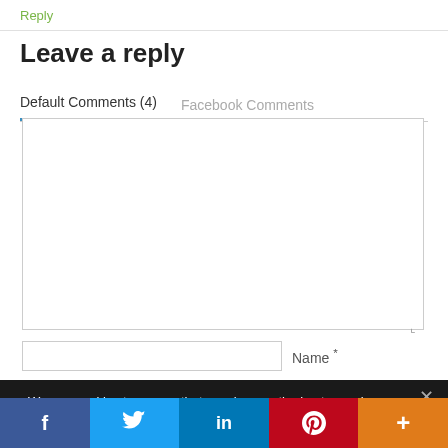Reply
Leave a reply
Default Comments (4)   Facebook Comments
Name *
We use cookies to ensure that we give you the best experience on our website. If you continue to use this site we will assume that you are happy with it.
[Figure (other): Social sharing bar with Facebook, Twitter, LinkedIn, Pinterest, and More buttons]